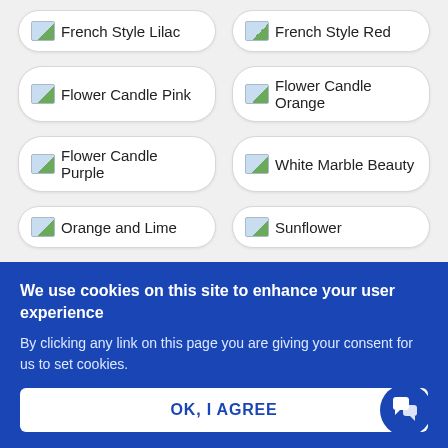French Style Lilac
French Style Red
Flower Candle Pink
Flower Candle Orange
Flower Candle Purple
White Marble Beauty
Orange and Lime
Sunflower
We use cookies on this site to enhance your user experience
By clicking any link on this page you are giving your consent for us to set cookies.
OK, I AGREE